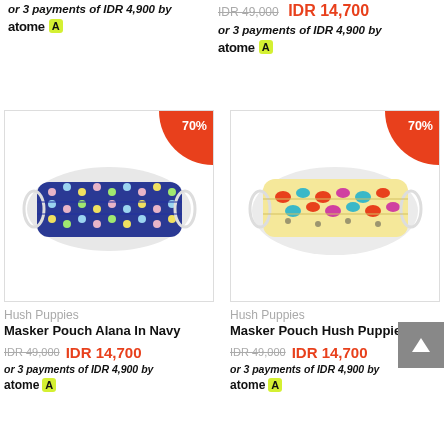or 3 payments of IDR 4,900 by atome A
IDR 49,000 IDR 14,700
or 3 payments of IDR 4,900 by atome A
[Figure (photo): Hush Puppies face mask - Masker Pouch Alana In Navy, blue patterned fabric mask with colorful dots, 70% discount badge]
Hush Puppies
Masker Pouch Alana In Navy
IDR 49,000 IDR 14,700
or 3 payments of IDR 4,900 by atome A
[Figure (photo): Hush Puppies face mask - Masker Pouch Hush Puppies, colorful dog-patterned mask on cream background, 70% discount badge]
Hush Puppies
Masker Pouch Hush Puppies
IDR 49,000 IDR 14,700
or 3 payments of IDR 4,900 by atome A